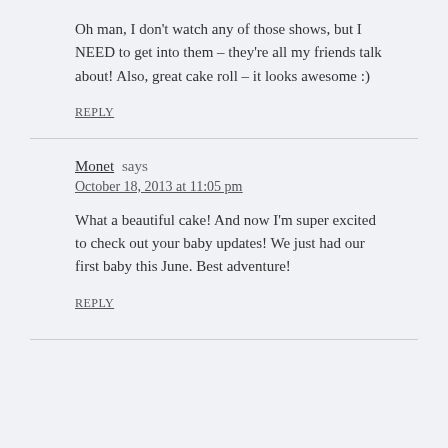Oh man, I don't watch any of those shows, but I NEED to get into them – they're all my friends talk about! Also, great cake roll – it looks awesome :)
REPLY
Monet says
October 18, 2013 at 11:05 pm
What a beautiful cake! And now I'm super excited to check out your baby updates! We just had our first baby this June. Best adventure!
REPLY